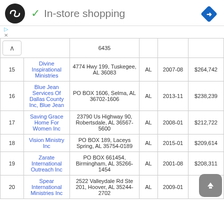[Figure (screenshot): Top navigation bar with logo circle (dark with infinity/loop icon), checkmark and 'In-store shopping' text, and blue diamond navigation icon on right]
|  |  | 6435 |  |  |  |
| --- | --- | --- | --- | --- | --- |
| 15 | Divine Inspirational Ministries | 4774 Hwy 199, Tuskegee, AL 36083 | AL | 2007-08 | $264,742 |
| 16 | Blue Jean Services Of Dallas County Inc, Blue Jean | PO BOX 1606, Selma, AL 36702-1606 | AL | 2013-11 | $238,239 |
| 17 | Saving Grace Home For Women Inc | 23790 Us Highway 90, Robertsdale, AL 36567-5600 | AL | 2008-01 | $212,722 |
| 18 | Vision Ministry Inc | PO BOX 189, Laceys Spring, AL 35754-0189 | AL | 2015-01 | $209,614 |
| 19 | Zarate International Outreach Inc | PO BOX 661454, Birmingham, AL 35266-1454 | AL | 2001-08 | $208,311 |
| 20 | Spear International Ministries Inc | 2522 Valleydale Rd Ste 201, Hoover, AL 35244-2702 | AL | 2009-01 | $208,398 |